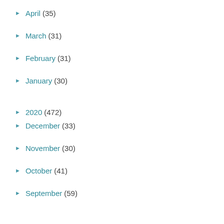► April (35)
► March (31)
► February (31)
► January (30)
► 2020 (472)
► December (33)
► November (30)
► October (41)
► September (59)